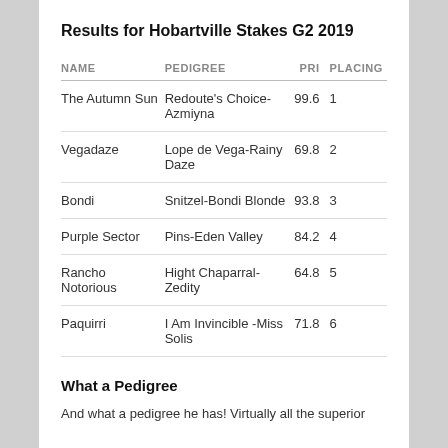Results for Hobartville Stakes G2 2019
| NAME | PEDIGREE | PRI | PLACING |
| --- | --- | --- | --- |
| The Autumn Sun | Redoute's Choice-Azmiyna | 99.6 | 1 |
| Vegadaze | Lope de Vega-Rainy Daze | 69.8 | 2 |
| Bondi | Snitzel-Bondi Blonde | 93.8 | 3 |
| Purple Sector | Pins-Eden Valley | 84.2 | 4 |
| Rancho Notorious | Hight Chaparral-Zedity | 64.8 | 5 |
| Paquirri | I Am Invincible -Miss Solis | 71.8 | 6 |
What a Pedigree
And what a pedigree he has! Virtually all the superior